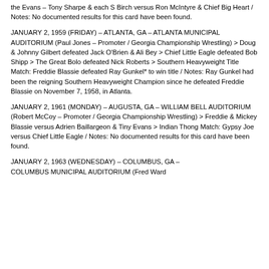the Evans – Tony Sharpe & each S Birch versus Ron McIntyre & Chief Big Heart / Notes: No documented results for this card have been found.
JANUARY 2, 1959 (FRIDAY) – ATLANTA, GA – ATLANTA MUNICIPAL AUDITORIUM (Paul Jones – Promoter / Georgia Championship Wrestling) > Doug & Johnny Gilbert defeated Jack O'Brien & Ali Bey > Chief Little Eagle defeated Bob Shipp > The Great Bolo defeated Nick Roberts > Southern Heavyweight Title Match: Freddie Blassie defeated Ray Gunkel* to win title / Notes: Ray Gunkel had been the reigning Southern Heavyweight Champion since he defeated Freddie Blassie on November 7, 1958, in Atlanta.
JANUARY 2, 1961 (MONDAY) – AUGUSTA, GA – WILLIAM BELL AUDITORIUM (Robert McCoy – Promoter / Georgia Championship Wrestling) > Freddie & Mickey Blassie versus Adrien Baillargeon & Tiny Evans > Indian Thong Match: Gypsy Joe versus Chief Little Eagle / Notes: No documented results for this card have been found.
JANUARY 2, 1963 (WEDNESDAY) – COLUMBUS, GA – COLUMBUS MUNICIPAL AUDITORIUM (Fred Ward...